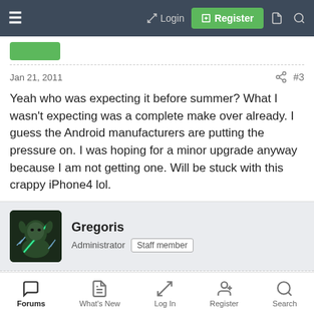Login | Register
Jan 21, 2011   #3
Yeah who was expecting it before summer? What I wasn't expecting was a complete make over already. I guess the Android manufacturers are putting the pressure on. I was hoping for a minor upgrade anyway because I am not getting one. Will be stuck with this crappy iPhone4 lol.
Gregoris
Administrator   Staff member
Jan 21, 2011   #4
Forums   What's New   Log In   Register   Search